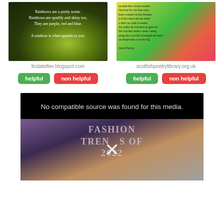[Figure (photo): Dark greenish background with sparkle/bokeh effects and text of a rainbow poem]
[Figure (photo): Colorful rainbow gradient background with a Scots language poem by Janet Paisley]
lindatellier.blogspot.com
scottishpoetrylibrary.org.uk
helpful
non helpful
helpful
non helpful
[Figure (screenshot): Video player showing 'No compatible source was found for this media.' error message above a video thumbnail showing 'FASHION TRENDS OF 2022' text with an X close button]